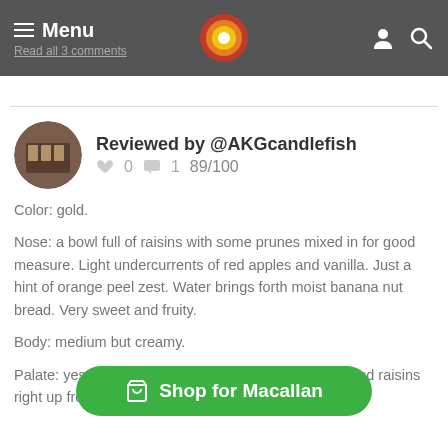Menu  Read all 3 comments
Reviewed by @AKGcandlefish  0  1  89/100
Color: gold.
Nose: a bowl full of raisins with some prunes mixed in for good measure. Light undercurrents of red apples and vanilla. Just a hint of orange peel zest. Water brings forth moist banana nut bread. Very sweet and fruity.
Body: medium but creamy.
Palate: yes, fresh baked banana bread with walnuts and raisins right up front with some creamy butterscotch
[Figure (other): Shop for Macallan button (green pill-shaped CTA button with shopping cart icon)]